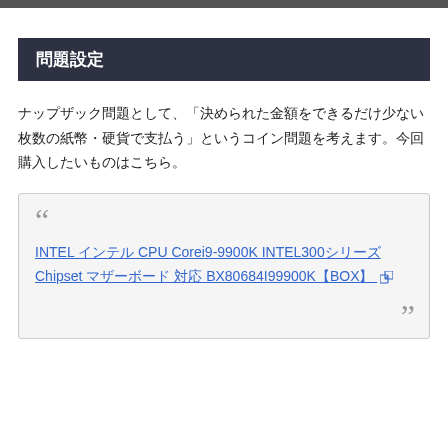問題設定
ナップザック問題として、「決められた金額をできるだけ少ない枚数の紙幣・硬貨で支払う」というコイン問題を考えます。今回購入したいものはこちら。
INTEL インテル CPU Corei9-9900K INTEL300シリーズ Chipset マザーボード対応 BX80684I99900K【BOX】